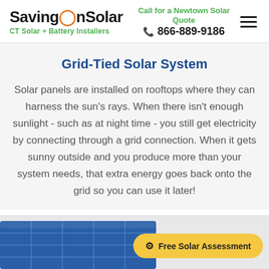SavingOnSolar — CT Solar + Battery Installers | Call for a Newtown Solar Quote | 866-889-9186
Grid-Tied Solar System
Solar panels are installed on rooftops where they can harness the sun's rays. When there isn't enough sunlight - such as at night time - you still get electricity by connecting through a grid connection. When it gets sunny outside and you produce more than your system needs, that extra energy goes back onto the grid so you can use it later!
[Figure (photo): Partial view of solar panels at bottom of page]
Free Solar Assessment